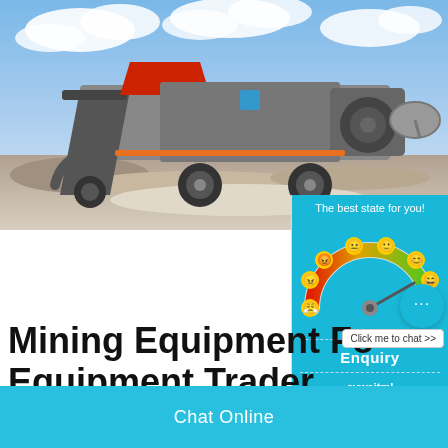[Figure (photo): Mining/crushing equipment machine (mobile crusher/screener) on a gravel site with blue sky and clouds background]
[Figure (infographic): Satisfaction gauge widget with emoji faces ranging from angry to happy, showing a meter/dial, on a cyan background with text 'The best state for you!']
Mining Equipment Fo... Equipment Trader
Enquiry
Click me to chat >>
Chat Online
cywaitml@gmail.com